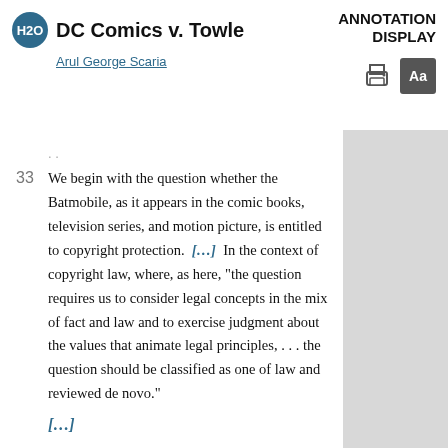DC Comics v. Towle | Arul George Scaria | ANNOTATION DISPLAY
33  We begin with the question whether the Batmobile, as it appears in the comic books, television series, and motion picture, is entitled to copyright protection. [...] In the context of copyright law, where, as here, "the question requires us to consider legal concepts in the mix of fact and law and to exercise judgment about the values that animate legal principles, . . . the question should be classified as one of law and reviewed de novo."
[...]